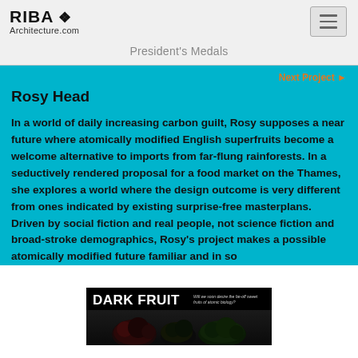RIBA Architecture.com
President's Medals
Next Project
Rosy Head
In a world of daily increasing carbon guilt, Rosy supposes a near future where atomically modified English superfruits become a welcome alternative to imports from far-flung rainforests. In a seductively rendered proposal for a food market on the Thames, she explores a world where the design outcome is very different from ones indicated by existing surprise-free masterplans. Driven by social fiction and real people, not science fiction and broad-stroke demographics, Rosy's project makes a possible atomically modified future familiar and in so
[Figure (photo): Dark Fruit book/poster cover image showing dark fruits with text 'DARK FRUIT' in bold white lettering on a dark background]